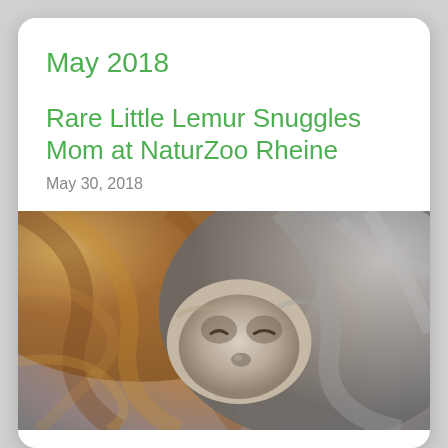May 2018
Rare Little Lemur Snuggles Mom at NaturZoo Rheine
May 30, 2018
[Figure (photo): Close-up photo of a baby lemur with gray and brown fur, eyes closed, snuggled against its mother's fur at NaturZoo Rheine]